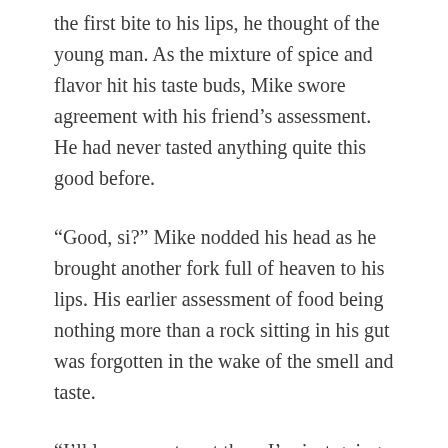the first bite to his lips, he thought of the young man. As the mixture of spice and flavor hit his taste buds, Mike swore agreement with his friend's assessment. He had never tasted anything quite this good before.
“Good, si?” Mike nodded his head as he brought another fork full of heaven to his lips. His earlier assessment of food being nothing more than a rock sitting in his gut was forgotten in the wake of the smell and taste.
“I’ll leave you to eat then. I’m just going over there to talk to my cousins. Call me if you need anything.” She walked away to join a group of teenagers standing near a metal storage building.